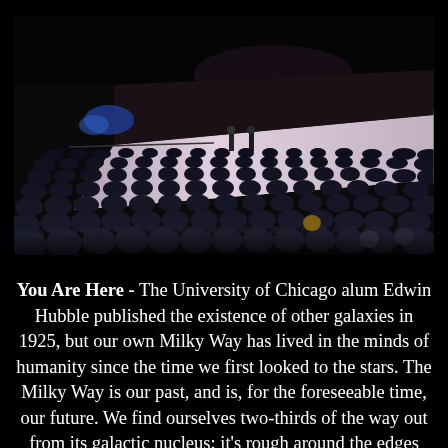[Figure (photo): A large auditorium packed with audience members viewed from behind, looking toward a stage with two presenters standing under bright lights in a darkened venue.]
You Are Here - The University of Chicago alum Edwin Hubble published the existence of other galaxies in 1925, but our own Milky Way has lived in the minds of humanity since the time we first looked to the stars. The Milky Way is our past, and is, for the foreseeable time, our future. We find ourselves two-thirds of the way out from its galactic nucleus; it's rough around the edges and on the smaller end, but it's home — the birthplace of